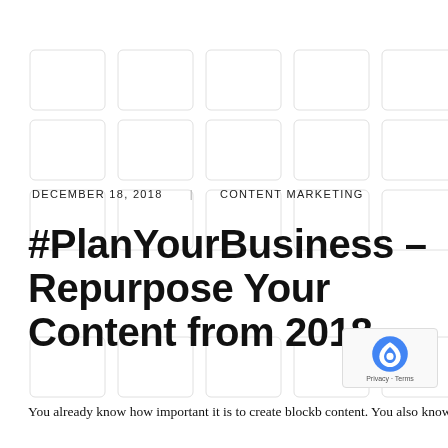[Figure (other): Light gray grid/calendar background pattern with white rounded rectangle cells arranged in rows and columns]
DECEMBER 18, 2018 | CONTENT MARKETING
#PlanYourBusiness – Repurpose Your Content from 2018
You already know how important it is to create blockb content. You also know that it is not an easy job. That's why